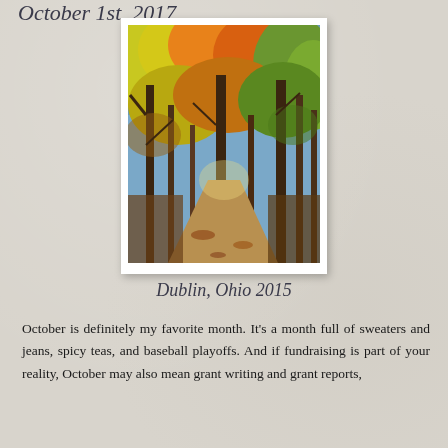October 1st, 2017
[Figure (photo): Autumn forest path with vibrant yellow, orange, and red foliage on trees, dirt path leading through the woods, fallen leaves on the ground. Dublin, Ohio 2015.]
Dublin, Ohio 2015
October is definitely my favorite month. It’s a month full of sweaters and jeans, spicy teas, and baseball playoffs. And if fundraising is part of your reality, October may also mean grant writing and grant reports,